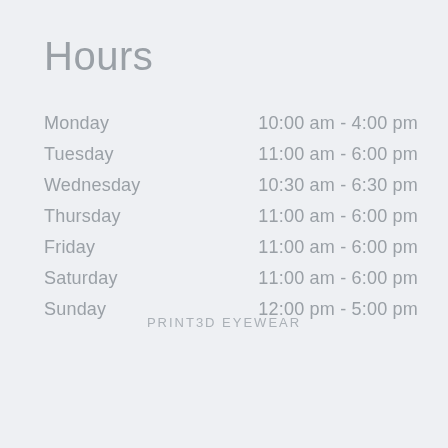Hours
| Day | Hours |
| --- | --- |
| Monday | 10:00 am - 4:00 pm |
| Tuesday | 11:00 am - 6:00 pm |
| Wednesday | 10:30 am - 6:30 pm |
| Thursday | 11:00 am - 6:00 pm |
| Friday | 11:00 am - 6:00 pm |
| Saturday | 11:00 am - 6:00 pm |
| Sunday | 12:00 pm - 5:00 pm |
PRINT3D EYEWEAR